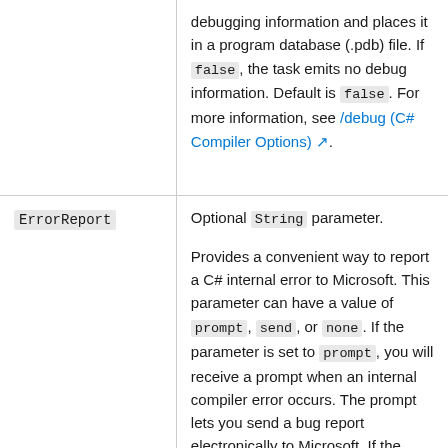| Parameter | Description |
| --- | --- |
| (continued) | debugging information and places it in a program database (.pdb) file. If false, the task emits no debug information. Default is false. For more information, see /debug (C# Compiler Options). |
| ErrorReport | Optional String parameter.

Provides a convenient way to report a C# internal error to Microsoft. This parameter can have a value of prompt, send, or none. If the parameter is set to prompt, you will receive a prompt when an internal compiler error occurs. The prompt lets you send a bug report electronically to Microsoft. If the parameter is set to send, a bug report is... |